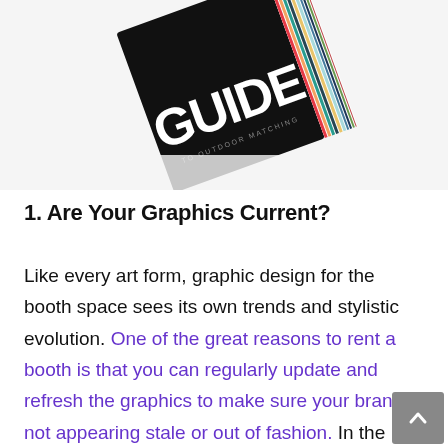[Figure (photo): A book or booklet tilted at an angle showing the word GUIDE in large white letters on a black cover, with a colorful barcode-like striped spine visible along the right edge.]
1. Are Your Graphics Current?
Like every art form, graphic design for the booth space sees its own trends and stylistic evolution. One of the great reasons to rent a booth is that you can regularly update and refresh the graphics to make sure your brand is not appearing stale or out of fashion. In the mid-90s, many designers were just